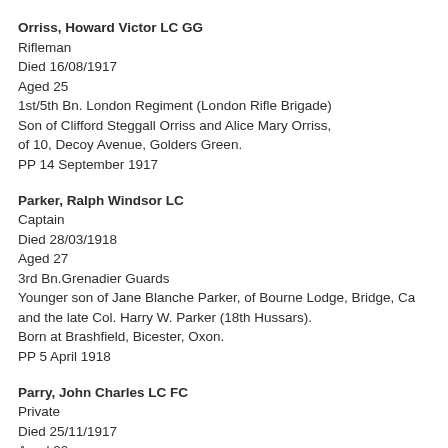Orriss, Howard Victor LC GG
Rifleman
Died 16/08/1917
Aged 25
1st/5th Bn. London Regiment (London Rifle Brigade)
Son of Clifford Steggall Orriss and Alice Mary Orriss, of 10, Decoy Avenue, Golders Green.
PP 14 September 1917
Parker, Ralph Windsor LC
Captain
Died 28/03/1918
Aged 27
3rd Bn.Grenadier Guards
Younger son of Jane Blanche Parker, of Bourne Lodge, Bridge, Ca and the late Col. Harry W. Parker (18th Hussars).
Born at Brashfield, Bicester, Oxon.
PP 5 April 1918
Parry, John Charles LC FC
Private
Died 25/11/1917
Aged 20
6th Bn. Essex Regiment
Son of John and Mary Ann Parry
Pearson, George Frank LC
Corpora...